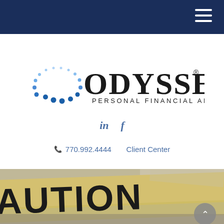Navigation bar with hamburger menu
[Figure (logo): Odyssey Personal Financial Advisors logo with circular blue dot pattern on the left and serif text 'ODYSSEY' with subtitle 'PERSONAL FINANCIAL ADVISORS']
in f
770.992.4444   Client Center
[Figure (photo): Close-up photograph of yellow caution tape with black text reading 'CAUTION', slightly blurred background]